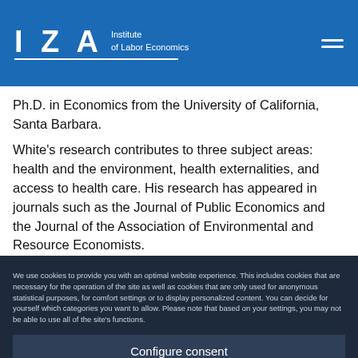IZA Institute of Labor Economics
Ph.D. in Economics from the University of California, Santa Barbara.
White's research contributes to three subject areas: health and the environment, health externalities, and access to health care. His research has appeared in journals such as the Journal of Public Economics and the Journal of the Association of Environmental and Resource Economists.
His research on health and the environment primarily concerns
We use cookies to provide you with an optimal website experience. This includes cookies that are necessary for the operation of the site as well as cookies that are only used for anonymous statistical purposes, for comfort settings or to display personalized content. You can decide for yourself which categories you want to allow. Please note that based on your settings, you may not be able to use all of the site's functions.
Configure consent
Accept all
Corey White joined IZA as a Research Affiliate in July 2019.